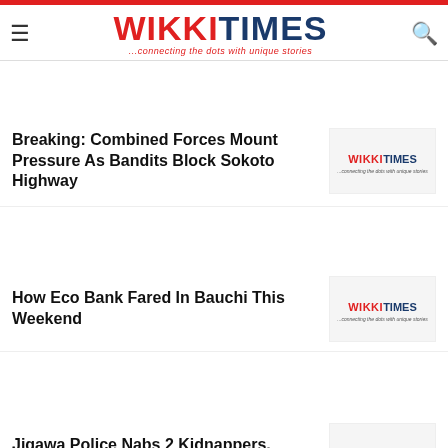WIKKITIMES ...connecting the dots with unique stories
Breaking: Combined Forces Mount Pressure As Bandits Block Sokoto Highway
How Eco Bank Fared In Bauchi This Weekend
Jigawa Police Nabs 2 Kidnappers, Rescues Victim